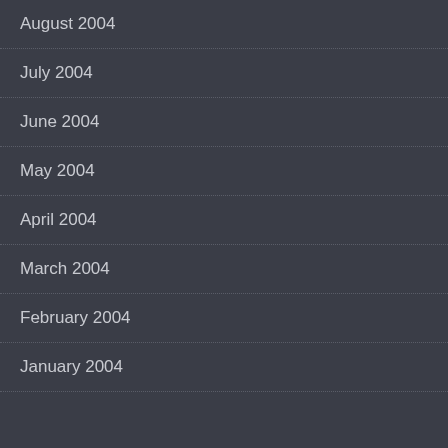August 2004
July 2004
June 2004
May 2004
April 2004
March 2004
February 2004
January 2004